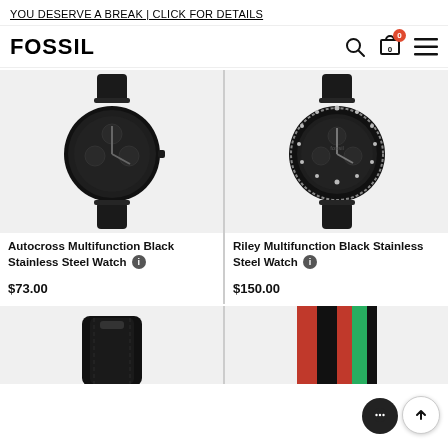YOU DESERVE A BREAK | CLICK FOR DETAILS
[Figure (logo): FOSSIL brand logo and navigation icons (search, cart with badge 0, hamburger menu)]
[Figure (photo): Autocross Multifunction Black Stainless Steel Watch product photo on grey background]
[Figure (photo): Riley Multifunction Black Stainless Steel Watch product photo on grey background]
Autocross Multifunction Black Stainless Steel Watch
$73.00
Riley Multifunction Black Stainless Steel Watch
$150.00
[Figure (photo): Partial product photo showing a black leather watch strap]
[Figure (photo): Partial product photo showing a multicolor nylon NATO-style watch strap (red, black, green stripes)]